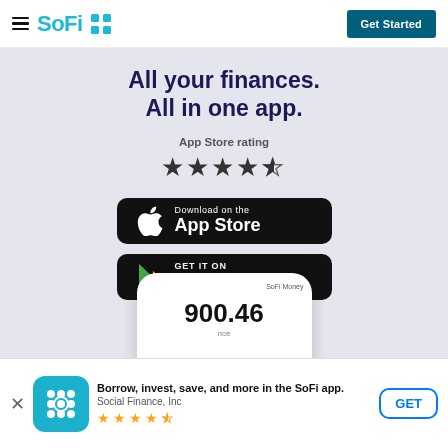[Figure (logo): SoFi logo with hamburger menu on the left and 'Get Started' button on the right in the navigation bar]
All your finances.
All in one app.
App Store rating
[Figure (other): 4.5 out of 5 stars rating display — four filled stars and one half star]
[Figure (other): Download on the App Store button (black rounded rectangle with Apple logo)]
[Figure (other): Get it on Google Play button (black rounded rectangle with Google Play triangle logo)]
[Figure (screenshot): Partial view of a smartphone showing the SoFi Money app with balance 900.46 visible]
Borrow, invest, save, and more in the SoFi app.
Social Finance, Inc
[Figure (other): 4.5 stars rating in the app banner (golden stars)]